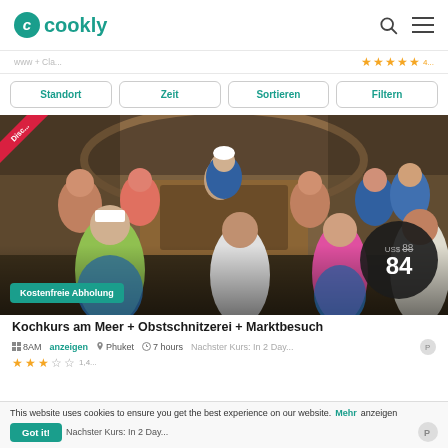cookly
Standort
Zeit
Sortieren
Filtern
[Figure (photo): Group cooking class photo showing participants seated around a large table with a chef instructor demonstrating at a central station in a traditional wooden room. Participants wear blue aprons and white hats. Price badge shows US$ 88 crossed out, now 84. Discount ribbon in top-left corner. Kostenfreie Abholung badge at bottom-left.]
US$ 88
84
Kostenfreie Abholung
Kochkurs am Meer + Obstschnitzerei + Marktbesuch
This website uses cookies to ensure you get the best experience on our website. Mehr anzeigen Got it! Nachster Kurs: In 2 Day...
8AM   Phuket   7 hours